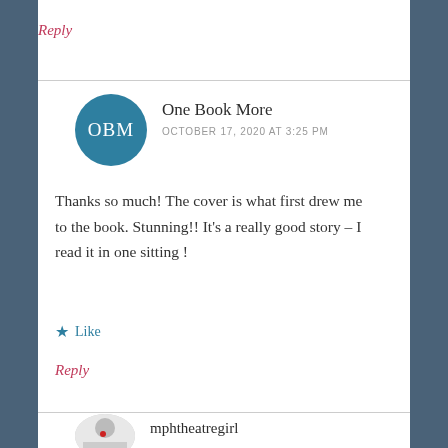Reply
One Book More
OCTOBER 17, 2020 AT 3:25 PM
Thanks so much! The cover is what first drew me to the book. Stunning!! It’s a really good story – I read it in one sitting !
★ Like
Reply
mphtheatregirl